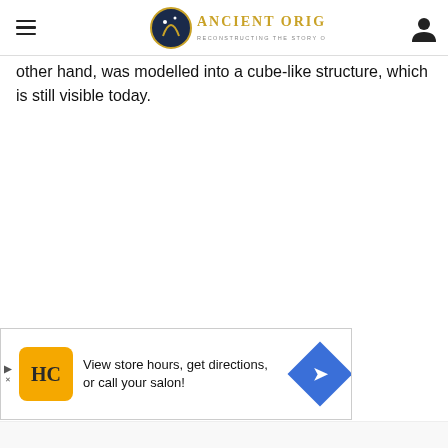Ancient Origins — Reconstructing the story of humanity's past
other hand, was modelled into a cube-like structure, which is still visible today.
[Figure (other): Advertisement banner: HC logo with text 'View store hours, get directions, or call your salon!' and a blue navigation arrow icon]